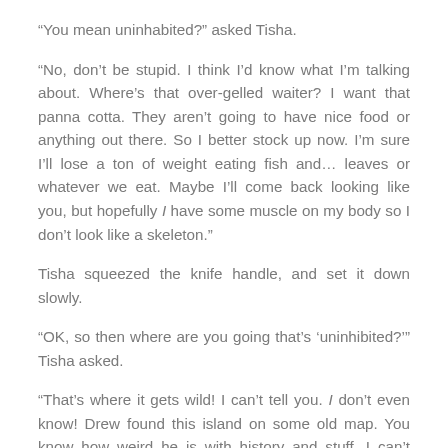“You mean uninhabited?” asked Tisha.
“No, don’t be stupid. I think I’d know what I’m talking about. Where’s that over-gelled waiter? I want that panna cotta. They aren’t going to have nice food or anything out there. So I better stock up now. I’m sure I’ll lose a ton of weight eating fish and… leaves or whatever we eat. Maybe I’ll come back looking like you, but hopefully I have some muscle on my body so I don’t look like a skeleton.”
Tisha squeezed the knife handle, and set it down slowly.
“OK, so then where are you going that’s ‘uninhibited?’” Tisha asked.
“That’s where it gets wild! I can’t tell you. I don’t even know! Drew found this island on some old map. You know how weird he is with history and stuff. I can’t believe his first marriage lasted as long as it did. I told him when we